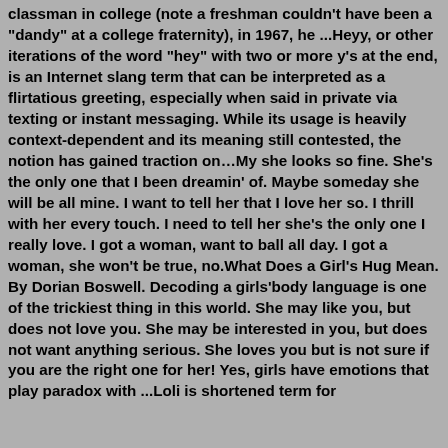classman in college (note a freshman couldn't have been a "dandy" at a college fraternity), in 1967, he ...Heyy, or other iterations of the word "hey" with two or more y's at the end, is an Internet slang term that can be interpreted as a flirtatious greeting, especially when said in private via texting or instant messaging. While its usage is heavily context-dependent and its meaning still contested, the notion has gained traction on…My she looks so fine. She's the only one that I been dreamin' of. Maybe someday she will be all mine. I want to tell her that I love her so. I thrill with her every touch. I need to tell her she's the only one I really love. I got a woman, want to ball all day. I got a woman, she won't be true, no.What Does a Girl's Hug Mean. By Dorian Boswell. Decoding a girls'body language is one of the trickiest thing in this world. She may like you, but does not love you. She may be interested in you, but does not want anything serious. She loves you but is not sure if you are the right one for her! Yes, girls have emotions that play paradox with ...Loli is shortened term for